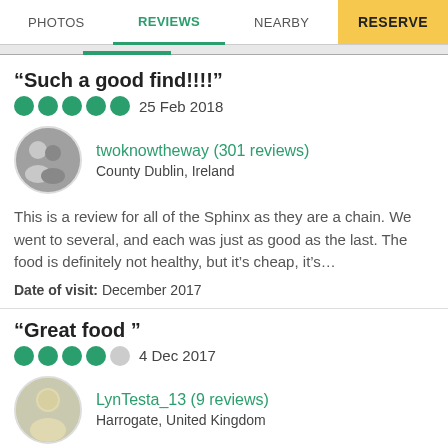PHOTOS | REVIEWS | NEARBY | RESERVE
“Such a good find!!!!”
5 stars  25 Feb 2018
twoknowtheway (301 reviews)
County Dublin, Ireland
This is a review for all of the Sphinx as they are a chain. We went to several, and each was just as good as the last. The food is definitely not healthy, but it’s cheap, it’s...
Date of visit: December 2017
“Great food”
4 stars  4 Dec 2017
LynTesta_13 (9 reviews)
Harrogate, United Kingdom
Always good pizza food is always fresh and Pea cakes (pastities)